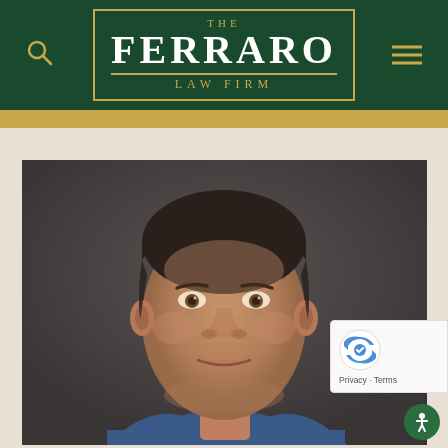[Figure (logo): The Ferraro Law Firm logo — dark green header with gold serif text reading THE FERRARO LAW FIRM, with search icon on left and hamburger menu on right]
[Figure (photo): Professional headshot of a middle-aged man in a blue suit with white shirt, dark hair combed back, photographed against a dark grey background]
[Figure (other): Google reCAPTCHA widget overlay showing reCAPTCHA logo and Privacy - Terms text]
[Figure (other): Green circular accessibility button with person icon, bottom right corner]